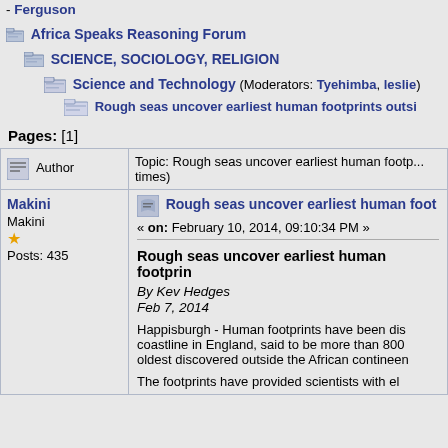- Ferguson
Africa Speaks Reasoning Forum > SCIENCE, SOCIOLOGY, RELIGION > Science and Technology (Moderators: Tyehimba, leslie) > Rough seas uncover earliest human footprints outside...
Pages: [1]
| Author | Topic: Rough seas uncover earliest human footprints outside... (Read ... times) |
| --- | --- |
| Makini
Makini
★
Posts: 435 | Rough seas uncover earliest human foot...
« on: February 10, 2014, 09:10:34 PM »
Rough seas uncover earliest human footprin...
By Kev Hedges
Feb 7, 2014
Happisburgh - Human footprints have been dis... coastline in England, said to be more than 800... oldest discovered outside the African contineen...
The footprints have provided scientists with el... |